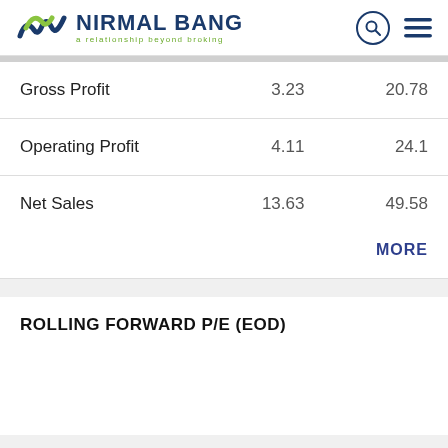[Figure (logo): Nirmal Bang logo with tagline 'a relationship beyond broking']
| Gross Profit | 3.23 | 20.78 |
| Operating Profit | 4.11 | 24.1 |
| Net Sales | 13.63 | 49.58 |
MORE
ROLLING FORWARD P/E (EOD)
[Figure (screenshot): Download Beyond App button]
OPEN AN ACCOUNT